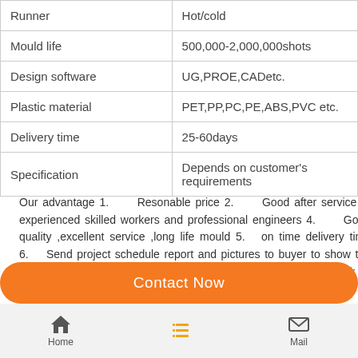| Runner | Hot/cold |
| Mould life | 500,000-2,000,000shots |
| Design software | UG,PROE,CADetc. |
| Plastic material | PET,PP,PC,PE,ABS,PVC etc. |
| Delivery time | 25-60days |
| Specification | Depends on customer's requirements |
Our advantage 1. Resonable price 2. Good after service 3. experienced skilled workers and professional engineers 4. Good quality ,excellent service ,long life mould 5. on time delivery time 6. Send project schedule report and pictures to buyer to show the progress of the machineing. 7. Our international sales team work 14 hours per day to serve you
Business steps
| 1.Sample/Drawing | We need your detail require clearly. |
| --- | --- |